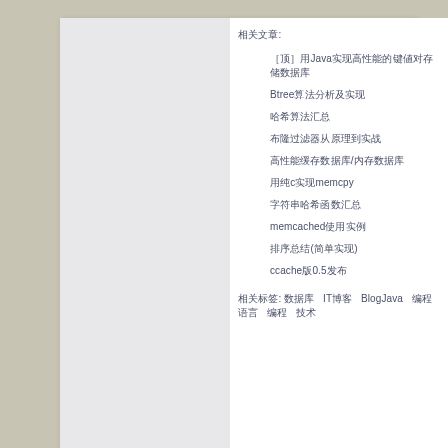相关文章:
[顶]用Java实现高性能的键值对存储数据库
Btree算法分析及实现
哈希算法汇总
布隆过滤器从原理到实战
高性能缓存数据库/内存数据库
用纯c实现memcpy
字符串哈希函数汇总
memcached使用实例
排序总结(简单实现)
ccache版0.5发布
相关标签: 数据库   IT博客   BlogJava   编程语言   编程   技术